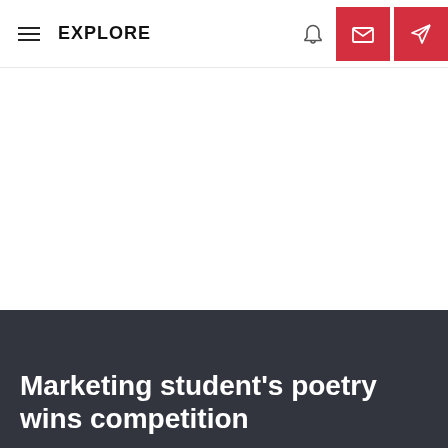EXPLORE
[Figure (photo): Large white/blank hero image area below navigation bar]
Marketing student's poetry wins competition